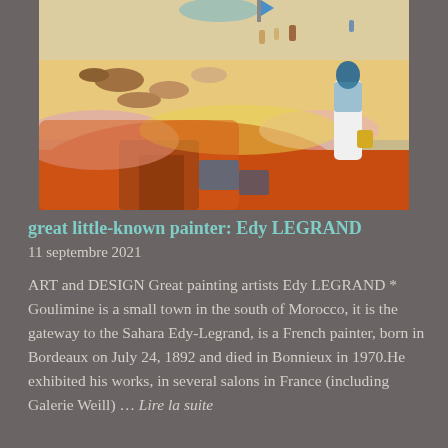[Figure (photo): A colorful painting depicting a Moroccan desert scene with figures in white robes, animals including horses and cattle, and warm orange and sandy tones with a blue sky backdrop.]
great little-known painter: Edy LEGRAND
11 septembre 2021
ART and DESIGN Great painting artists Edy LEGRAND * Goulimine is a small town in the south of Morocco, it is the gateway to the Sahara Edy-Legrand, is a French painter, born in Bordeaux on July 24, 1892 and died in Bonnieux in 1970.He exhibited his works, in several salons in France (including Galerie Weill) … Lire la suite